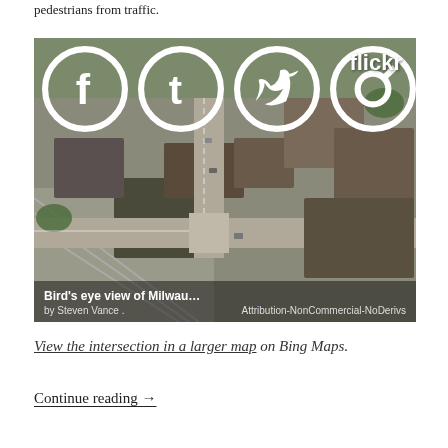pedestrians from traffic.
[Figure (photo): Bird's eye aerial view of Milwaukee intersection with railroad tracks, commercial buildings, and streets. Flickr photo by Steven Vance. Attribution-NonCommercial-NoDerivs license. Social sharing icons (Facebook, Tumblr, Twitter, Pinterest) overlaid at top left.]
View the intersection in a larger map on Bing Maps.
Continue reading →